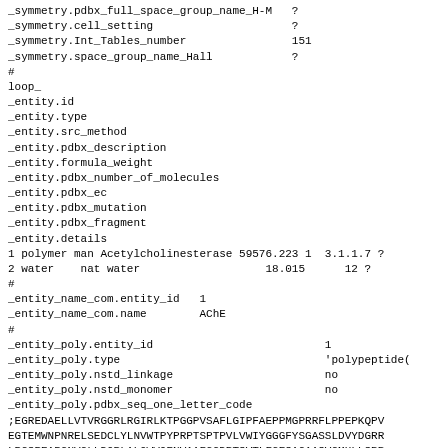_symmetry.pdbx_full_space_group_name_H-M   ?
_symmetry.cell_setting                     ?
_symmetry.Int_Tables_number                151
_symmetry.space_group_name_Hall            ?
#
loop_
_entity.id
_entity.type
_entity.src_method
_entity.pdbx_description
_entity.formula_weight
_entity.pdbx_number_of_molecules
_entity.pdbx_ec
_entity.pdbx_mutation
_entity.pdbx_fragment
_entity.details
1 polymer man Acetylcholinesterase 59576.223 1  3.1.1.7 ?
2 water    nat water                   18.015      12 ?
#
_entity_name_com.entity_id   1
_entity_name_com.name        AChE
#
_entity_poly.entity_id                          1
_entity_poly.type                               'polypeptide(
_entity_poly.nstd_linkage                       no
_entity_poly.nstd_monomer                       no
_entity_poly.pdbx_seq_one_letter_code
;EGREDAELLVTVRGGRLRGIRLKTPGGPVSAFLGIPFAEPPMGPRRFLPPEPKQPV
EGTEMWNPNRELSEDCLYLNVWTPYPRPTSPTPVLVWIYGGGFYSGASSLDVYDGRR
LPGSREAPGNVGLLDQRLALQWVQENVAAFGGDPTSVTLFGESAGAASVGMHLLSPR